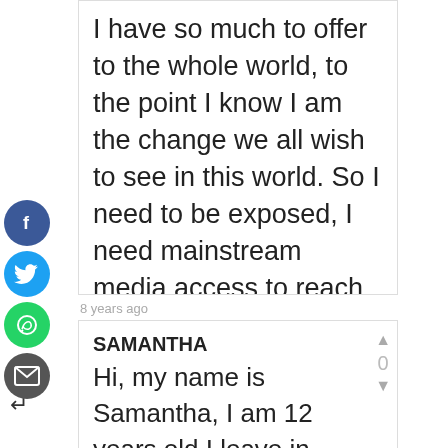I have so much to offer to the whole world, to the point I know I am the change we all wish to see in this world. So I need to be exposed, I need mainstream media access to reach the lives of so many souls that need to be touched by my message no one is more ready then I am!!!!
8 years ago
SAMANTHA
Hi, my name is Samantha, I am 12 years old I leave in New York. I would like this opportunity because this is my dream I love to